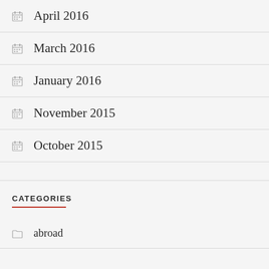April 2016
March 2016
January 2016
November 2015
October 2015
CATEGORIES
abroad